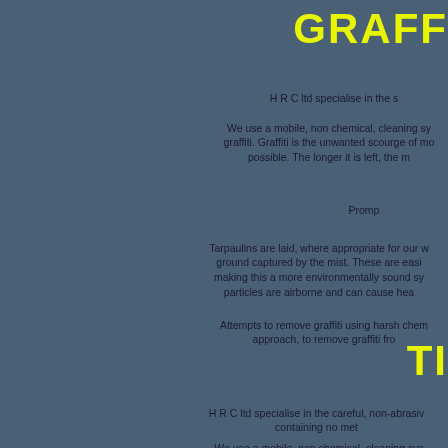GRAFF
H R C ltd specialise in the s
We use a mobile, non chemical, cleaning sy graffiti. Graffiti is the unwanted scourge of mo possible. The longer it is left, the m
Promp
Tarpaulins are laid, where appropriate for our w ground captured by the mist. These are easi making this a more environmentally sound sy particles are airborne and can cause hea
Attempts to remove graffiti using harsh chem approach, to remove graffiti fro
TI
H R C ltd specialise in the careful, non-abrasiv containing no met
We use a mobile, non chemical, cleaning sys